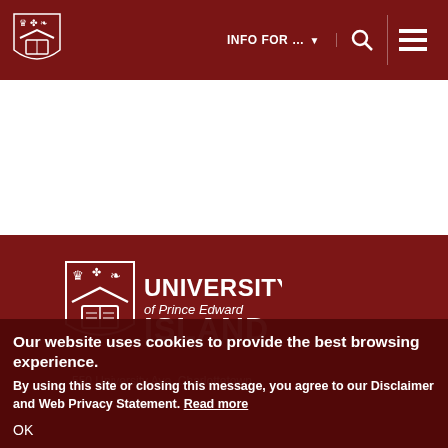INFO FOR ... ▼   [search icon]   [menu icon]
[Figure (logo): University of Prince Edward Island shield logo in navigation bar]
[Figure (logo): University of Prince Edward Island full logo with shield and text: UNIVERSITY of Prince Edward ISLAND]
550 University Ave, Charlottetown
Our website uses cookies to provide the best browsing experience.
By using this site or closing this message, you agree to our Disclaimer and Web Privacy Statement. Read more
OK